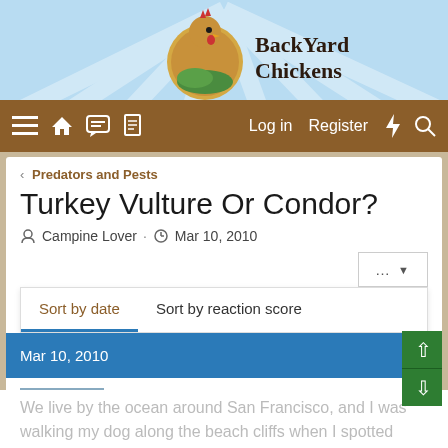[Figure (screenshot): BackYard Chickens website header with chicken logo and site name]
BackYard Chickens — Log in  Register
< Predators and Pests
Turkey Vulture Or Condor?
Campine Lover · Mar 10, 2010
... ▼
Sort by date   Sort by reaction score
Mar 10, 2010
Campine Lover
Songster  9 Years
We live by the ocean around San Francisco, and I was walking my dog along the beach cliffs when I spotted